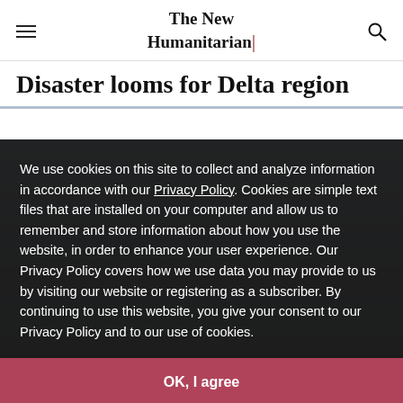The New Humanitarian
Disaster looms for Delta region
We use cookies on this site to collect and analyze information in accordance with our Privacy Policy. Cookies are simple text files that are installed on your computer and allow us to remember and store information about how you use the website, in order to enhance your user experience. Our Privacy Policy covers how we use data you may provide to us by visiting our website or registering as a subscriber. By continuing to use this website, you give your consent to our Privacy Policy and to our use of cookies.
OK, I agree
CAIRO
Also available in Français